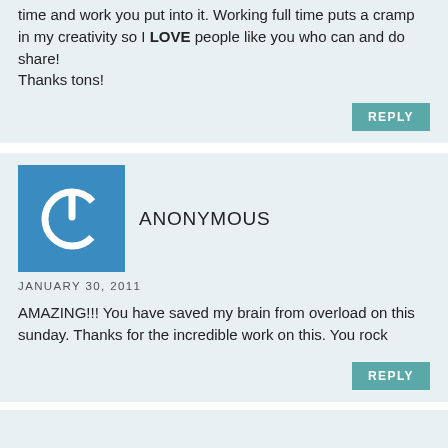time and work you put into it. Working full time puts a cramp in my creativity so I LOVE people like you who can and do share!
Thanks tons!
ANONYMOUS
JANUARY 30, 2011
AMAZING!!! You have saved my brain from overload on this sunday. Thanks for the incredible work on this. You rock